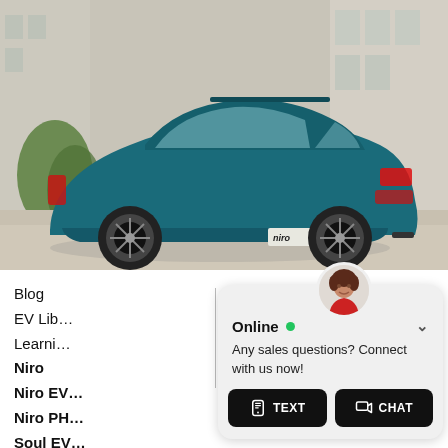[Figure (photo): Rear three-quarter view of a teal/dark blue Kia Niro electric vehicle parked on a city street, with the 'niro' badge visible on the rear]
Blog
EV Lib...
Learni...
Niro
Niro EV...
Niro PH...
Soul EV...
Videos...
[Figure (screenshot): Live chat widget showing avatar of a woman, 'Online' status with green dot, chevron/close button, message 'Any sales questions? Connect with us now!' and two buttons: TEXT and CHAT]